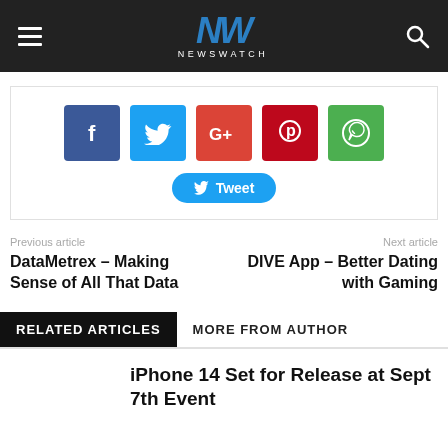NEWSWATCH
[Figure (infographic): Social sharing buttons: Facebook, Twitter, Google+, Pinterest, WhatsApp, and a Tweet button]
Previous article
DataMetrex – Making Sense of All That Data
Next article
DIVE App – Better Dating with Gaming
RELATED ARTICLES	MORE FROM AUTHOR
iPhone 14 Set for Release at Sept 7th Event